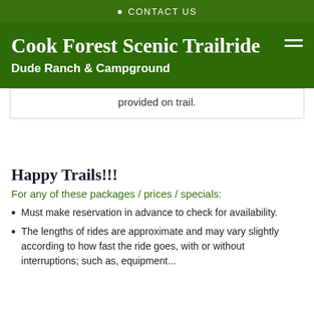CONTACT US
Cook Forest Scenic Trailride
Dude Ranch & Campground
provided on trail.
Happy Trails!!!
For any of these packages / prices / specials:
Must make reservation in advance to check for availability.
The lengths of rides are approximate and may vary slightly according to how fast the ride goes, with or without interruptions; such as, equipment...